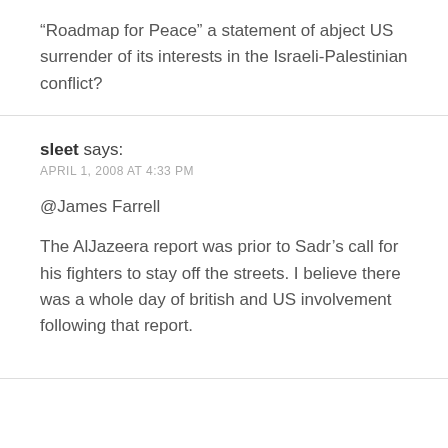“Roadmap for Peace” a statement of abject US surrender of its interests in the Israeli-Palestinian conflict?
sleet says:
APRIL 1, 2008 AT 4:33 PM
@James Farrell
The AlJazeera report was prior to Sadr’s call for his fighters to stay off the streets. I believe there was a whole day of british and US involvement following that report.